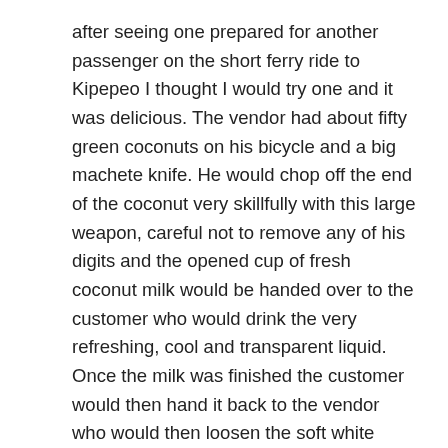after seeing one prepared for another passenger on the short ferry ride to Kipepeo I thought I would try one and it was delicious. The vendor had about fifty green coconuts on his bicycle and a big machete knife. He would chop off the end of the coconut very skillfully with this large weapon, careful not to remove any of his digits and the opened cup of fresh coconut milk would be handed over to the customer who would drink the very refreshing, cool and transparent liquid. Once the milk was finished the customer would then hand it back to the vendor who would then loosen the soft white coconut flesh and fashion a spoon out of the coconut body with which the customer would then eat the remainder of the contents. A very cheap and refreshing drink and snack all in one for about 200 Tanzanian Shillings which is just a few pence in UK